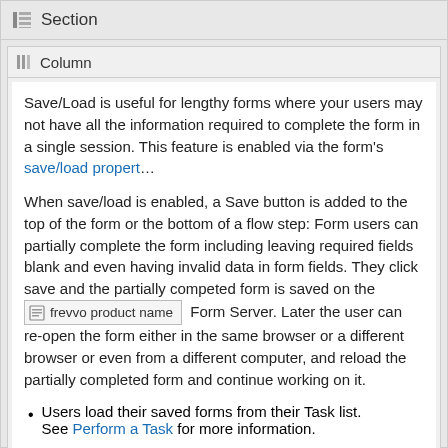Section
Column
Save/Load is useful for lengthy forms where your users may not have all the information required to complete the form in a single session. This feature is enabled via the form's save/load propert…
When save/load is enabled, a Save button is added to the top of the form or the bottom of a flow step: Form users can partially complete the form including leaving required fields blank and even having invalid data in form fields. They click save and the partially competed form is saved on the [frevvo product name] Form Server. Later the user can re-open the form either in the same browser or a different browser or even from a different computer, and reload the partially completed form and continue working on it.
Users load their saved forms from their Task list. See Perform a Task for more information.
If the visibility of your form/flow is set to Public in Tenant, an